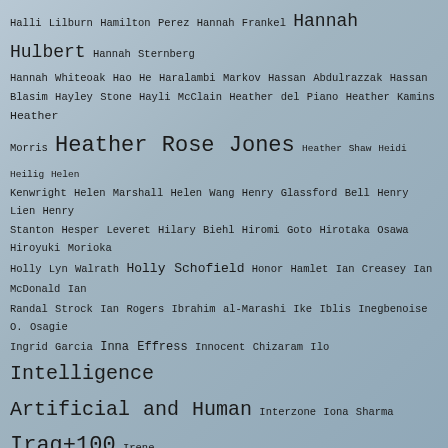Halli Lilburn Hamilton Perez Hannah Frankel Hannah Hulbert Hannah Sternberg Hannah Whiteoak Hao He Haralambi Markov Hassan Abdulrazzak Hassan Blasim Hayley Stone Hayli McClain Heather del Piano Heather Kamins Heather Morris Heather Rose Jones Heather Shaw Heidi Heilig Helen Kenwright Helen Marshall Helen Wang Henry Glassford Bell Henry Lien Henry Stanton Hesper Leveret Hilary Biehl Hiromi Goto Hirotaka Osawa Hiroyuki Morioka Holly Lyn Walrath Holly Schofield Honor Hamlet Ian Creasey Ian McDonald Ian Randal Strock Ian Rogers Ibrahim al-Marashi Ike Iblis Inegbenoise O. Osagie Ingrid Garcia Inna Effress Innocent Chizaram Ilo Intelligence Artificial and Human Interzone Iona Sharma Iraq+100 Irene Grazzini Irette Y. Patterson Isabel Cañas Isabel Hinchliff Isabel Lee Ivy Grimes Izzy Varju Izzy Wasserstein J. A. Gross J. Askew J. B. Rockwell J. B. Toner J. Byrd J. D. Buffington J. E. Bates J. G. Formato J. M. Evenson J.M. Guzman J.M. Phillippe J. M. Wetherell J. Motocki J. S. Rogers J. S. Veter J.V. Gachs Jack Bates Jack Campbell Jack Fennell Jack Hargreaves Jack McDevitt Jack Skillingstead Jacob Budenz Jacqueline Carey Jalal Hasan James